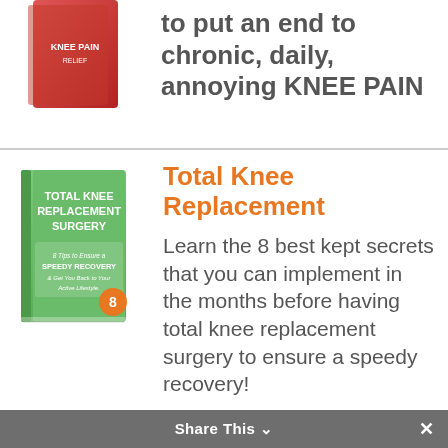to put an end to chronic, daily, annoying KNEE PAIN
[Figure (illustration): Red book cover partially visible at top left]
Total Knee Replacement
[Figure (illustration): Green book cover: Total Knee Replacement Surgery - 8 Tips to Ensure a Speedy Recovery & Get You Back to Your Active Lifestyle]
Learn the 8 best kept secrets that you can implement in the months before having total knee replacement surgery to ensure a speedy recovery!
Balance & Fall Prevention
[Figure (illustration): Blue book cover: 9 Simple Ways to Improve Your Balance And Prevent Another Fall...]
Learn the 9 most effective ways to improve your balance and reduce the likelihood
Share This